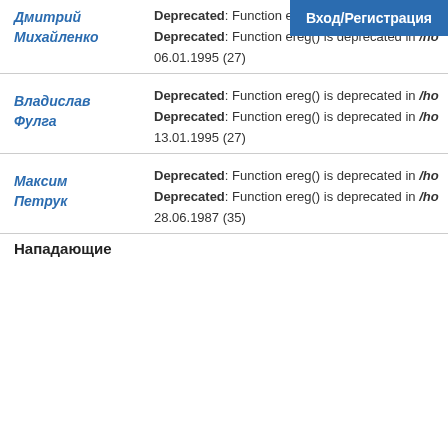Вход/Регистрация
Deprecated: Function ereg() is deprecated in /ho...
Дмитрий Михайленко
Deprecated: Function ereg() is deprecated in /ho...
06.01.1995 (27)
Владислав Фулга
Deprecated: Function ereg() is deprecated in /ho...
Deprecated: Function ereg() is deprecated in /ho...
13.01.1995 (27)
Максим Петрук
Deprecated: Function ereg() is deprecated in /ho...
Deprecated: Function ereg() is deprecated in /ho...
28.06.1987 (35)
Нападающие